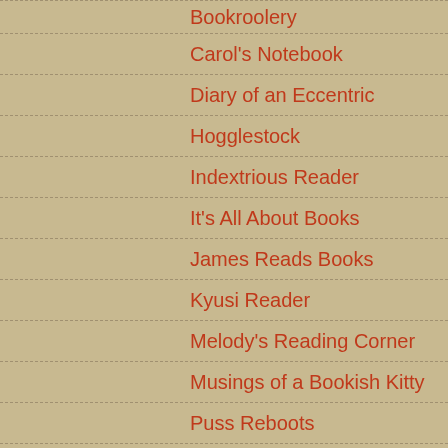Bookroolery
Carol's Notebook
Diary of an Eccentric
Hogglestock
Indextrious Reader
It's All About Books
James Reads Books
Kyusi Reader
Melody's Reading Corner
Musings of a Bookish Kitty
Puss Reboots
Read Warbler
Reading the End
Shelf Love